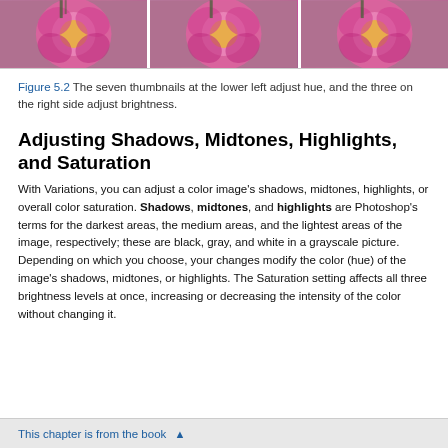[Figure (photo): Three thumbnail images of a pink flower arranged side by side in a strip at the top of the page, separated by white borders.]
Figure 5.2 The seven thumbnails at the lower left adjust hue, and the three on the right side adjust brightness.
Adjusting Shadows, Midtones, Highlights, and Saturation
With Variations, you can adjust a color image’s shadows, midtones, highlights, or overall color saturation. Shadows, midtones, and highlights are Photoshop’s terms for the darkest areas, the medium areas, and the lightest areas of the image, respectively; these are black, gray, and white in a grayscale picture. Depending on which you choose, your changes modify the color (hue) of the image’s shadows, midtones, or highlights. The Saturation setting affects all three brightness levels at once, increasing or decreasing the intensity of the color without changing it.
This chapter is from the book